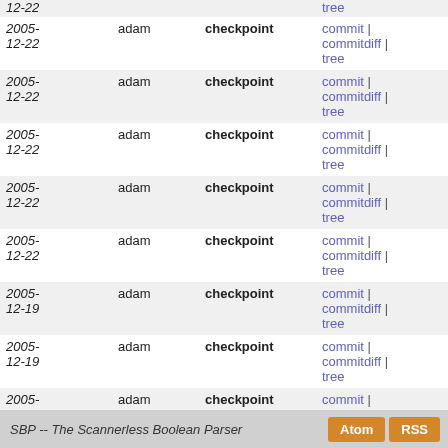| Date | Author | Message | Links |
| --- | --- | --- | --- |
| 2005-12-22 | adam | checkpoint | commit | commitdiff | tree |
| 2005-12-22 | adam | checkpoint | commit | commitdiff | tree |
| 2005-12-22 | adam | checkpoint | commit | commitdiff | tree |
| 2005-12-22 | adam | checkpoint | commit | commitdiff | tree |
| 2005-12-22 | adam | checkpoint | commit | commitdiff | tree |
| 2005-12-22 | adam | checkpoint | commit | commitdiff | tree |
| 2005-12-19 | adam | checkpoint | commit | commitdiff | tree |
| 2005-12-19 | adam | checkpoint | commit | commitdiff | tree |
| 2005-12-19 | adam | checkpoint | commit | commitdiff | tree |
| 2005-12-19 | adam | checkpoint | commit | commitdiff | tree |
| 2005-12-19 | adam | checkpoint | commit | commitdiff | tree |
next
SBP -- The Scannerless Boolean Parser  Atom  RSS